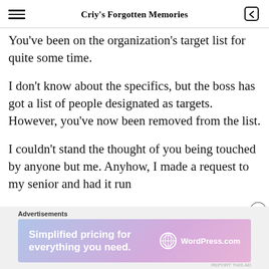Criy's Forgotten Memories
You've been on the organization's target list for quite some time.
I don't know about the specifics, but the boss has got a list of people designated as targets. However, you've now been removed from the list.
I couldn't stand the thought of you being touched by anyone but me. Anyhow, I made a request to my senior and had it run
Advertisements
[Figure (infographic): WordPress.com advertisement banner: 'Simplified pricing for everything you need.' with WordPress.com logo on gradient purple/blue background]